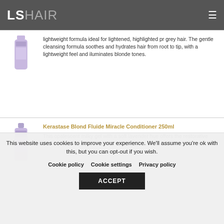LSHAIR
lightweight formula ideal for lightened, highlighted pr grey hair. The gentle cleansing formula soothes and hydrates hair from root to tip, with a lightweight feel and iluminates blonde tones.
Kerastase Blond Fluide Miracle Conditioner 250ml
This opalescent milky gel with a soft lavender hue offers the restorative
This website uses cookies to improve your experience. We'll assume you're ok with this, but you can opt-out if you wish. Cookie policy Cookie settings Privacy policy ACCEPT